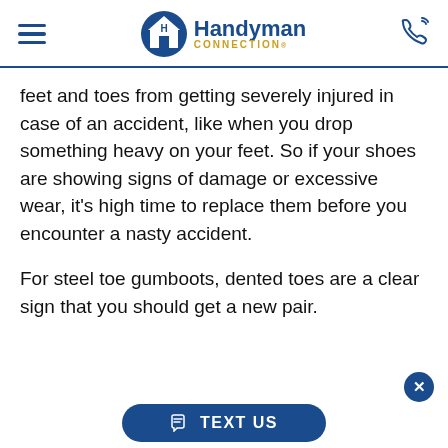Handyman Connection
feet and toes from getting severely injured in case of an accident, like when you drop something heavy on your feet. So if your shoes are showing signs of damage or excessive wear, it’s high time to replace them before you encounter a nasty accident.
For steel toe gumboots, dented toes are a clear sign that you should get a new pair.